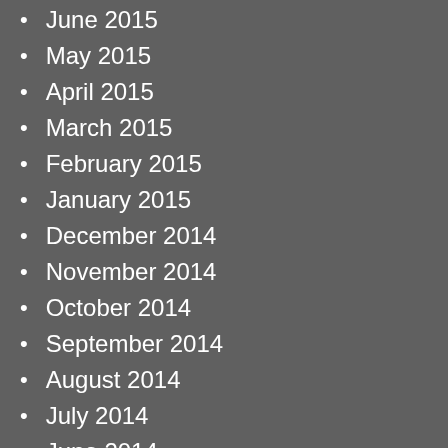June 2015
May 2015
April 2015
March 2015
February 2015
January 2015
December 2014
November 2014
October 2014
September 2014
August 2014
July 2014
June 2014
May 2014
April 2014
Kaz Si
May 2
Is tha you ta whole do, De
Like
Reply
bwcar
May 2
great
Like
Reply
Kaz Si